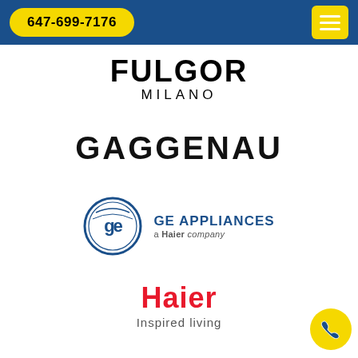647-699-7176
[Figure (logo): Fulgor Milano logo — FULGOR in large bold black letters, MILANO in spaced smaller letters below]
[Figure (logo): GAGGENAU logo in large bold black condensed letters]
[Figure (logo): GE Appliances logo — circular GE monogram with GE APPLIANCES a Haier company text]
[Figure (logo): Haier logo in red with 'Inspired living' tagline below in grey]